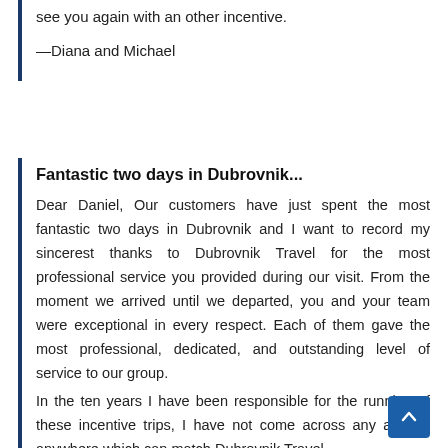see you again with an other incentive.
—Diana and Michael
Fantastic two days in Dubrovnik...
Dear Daniel, Our customers have just spent the most fantastic two days in Dubrovnik and I want to record my sincerest thanks to Dubrovnik Travel for the most professional service you provided during our visit. From the moment we arrived until we departed, you and your team were exceptional in every respect. Each of them gave the most professional, dedicated, and outstanding level of service to our group.
In the ten years I have been responsible for the running of these incentive trips, I have not come across any agency anywhere which can match Dubrovnik Travel.